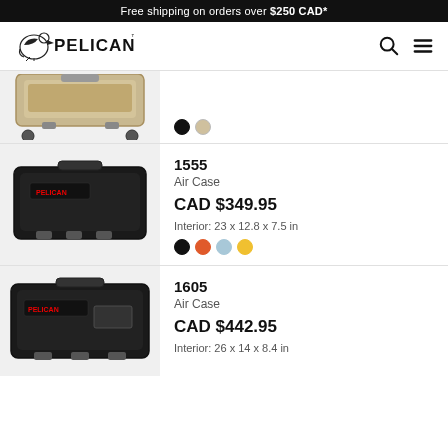Free shipping on orders over $250 CAD*
[Figure (logo): Pelican brand logo with pelican bird icon and PELICAN text]
[Figure (photo): Pelican rolling case in tan/desert color, partial view from top]
Color swatches: black, tan
[Figure (photo): Pelican 1555 Air Case in black]
1555
Air Case
CAD $349.95
Interior: 23 x 12.8 x 7.5 in
Color swatches: black, orange, blue, yellow
[Figure (photo): Pelican 1605 Air Case in black]
1605
Air Case
CAD $442.95
Interior: 26 x 14 x 8.4 in